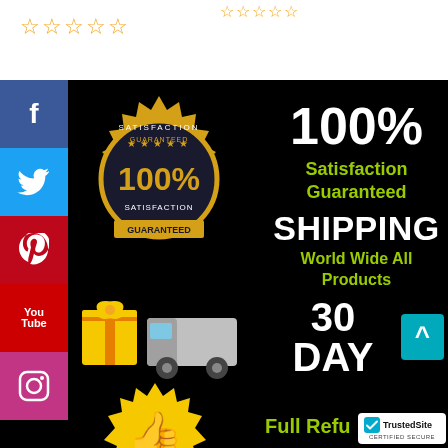[Figure (infographic): Star rating icons (empty gold stars) at top left of page]
[Figure (infographic): Social media icons column: Facebook, Twitter, Pinterest, YouTube, Instagram on black background]
[Figure (infographic): Gold 100% Satisfaction Guaranteed badge/seal]
[Figure (infographic): Gift box and delivery truck emoji icons]
[Figure (infographic): Gold thumbs up seal/badge]
100%
Satisfaction Guaranteed
SHIPPING
World Wide All Products
30 DAY
Full Refu
[Figure (logo): TrustedSite Certified Secure logo badge]